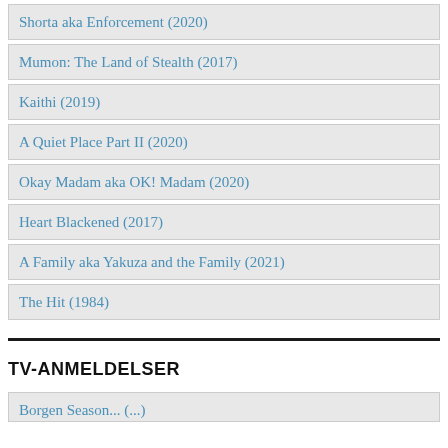Shorta aka Enforcement (2020)
Mumon: The Land of Stealth (2017)
Kaithi (2019)
A Quiet Place Part II (2020)
Okay Madam aka OK! Madam (2020)
Heart Blackened (2017)
A Family aka Yakuza and the Family (2021)
The Hit (1984)
TV-ANMELDELSER
Borgen Season... (...)